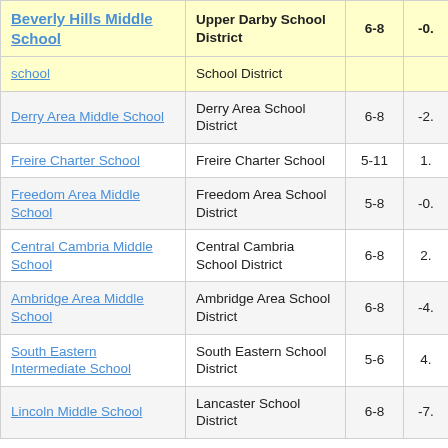| School | District | Grades | Score |
| --- | --- | --- | --- |
| Beverly Hills Middle School | Upper Darby School District | 6-8 | -0. |
| school | School District |  |  |
| Derry Area Middle School | Derry Area School District | 6-8 | -2. |
| Freire Charter School | Freire Charter School | 5-11 | 1. |
| Freedom Area Middle School | Freedom Area School District | 5-8 | -0. |
| Central Cambria Middle School | Central Cambria School District | 6-8 | 2. |
| Ambridge Area Middle School | Ambridge Area School District | 6-8 | -4. |
| South Eastern Intermediate School | South Eastern School District | 5-6 | 4. |
| Lincoln Middle School | Lancaster School District | 6-8 | -7. |